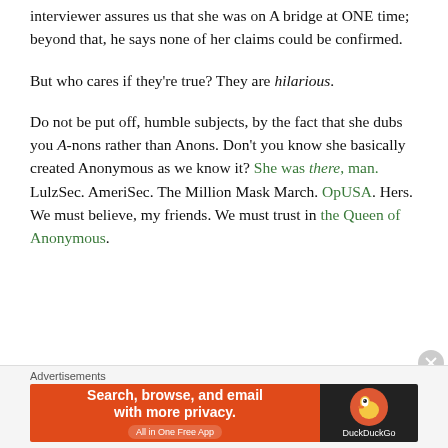interviewer assures us that she was on A bridge at ONE time; beyond that, he says none of her claims could be confirmed.
But who cares if they're true? They are hilarious.
Do not be put off, humble subjects, by the fact that she dubs you A-nons rather than Anons. Don't you know she basically created Anonymous as we know it? She was there, man. LulzSec. AmeriSec. The Million Mask March. OpUSA. Hers. We must believe, my friends. We must trust in the Queen of Anonymous.
Advertisements
[Figure (screenshot): DuckDuckGo advertisement banner: orange section with text 'Search, browse, and email with more privacy. All in One Free App' and dark section with DuckDuckGo logo.]